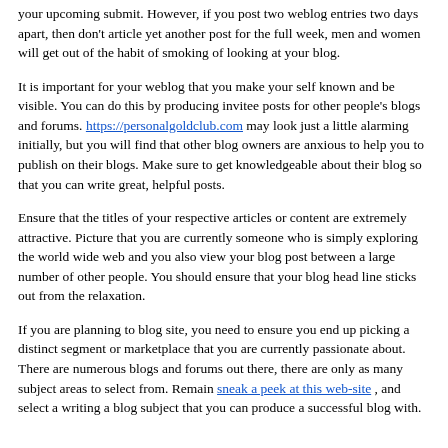your upcoming submit. However, if you post two weblog entries two days apart, then don't article yet another post for the full week, men and women will get out of the habit of smoking of looking at your blog.
It is important for your weblog that you make your self known and be visible. You can do this by producing invitee posts for other people's blogs and forums. https://personalgoldclub.com may look just a little alarming initially, but you will find that other blog owners are anxious to help you to publish on their blogs. Make sure to get knowledgeable about their blog so that you can write great, helpful posts.
Ensure that the titles of your respective articles or content are extremely attractive. Picture that you are currently someone who is simply exploring the world wide web and you also view your blog post between a large number of other people. You should ensure that your blog head line sticks out from the relaxation.
If you are planning to blog site, you need to ensure you end up picking a distinct segment or marketplace that you are currently passionate about. There are numerous blogs and forums out there, there are only as many subject areas to select from. Remain sneak a peek at this web-site , and select a writing a blog subject that you can produce a successful blog with.